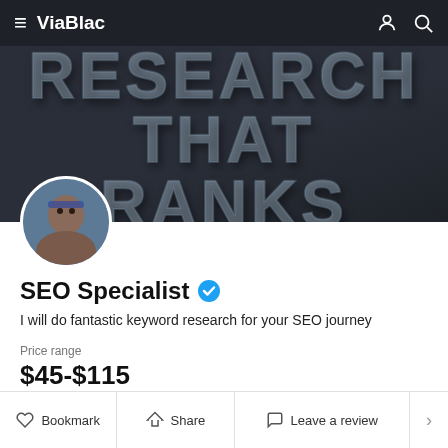ViaBlac
[Figure (photo): Dark background hero banner with large embossed/3D text reading RESEARCH THAT RANKS]
[Figure (photo): Circular avatar profile photo of a person]
SEO Specialist
I will do fantastic keyword research for your SEO journey
Price range
$45-$115
Profile   Reviews 0   My Freelance Gigs